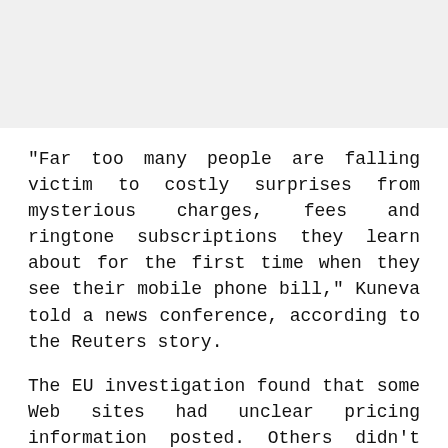[Figure (photo): Gray placeholder image area at the top of the page]
"Far too many people are falling victim to costly surprises from mysterious charges, fees and ringtone subscriptions they learn about for the first time when they see their mobile phone bill," Kuneva told a news conference, according to the Reuters story.
The EU investigation found that some Web sites had unclear pricing information posted. Others didn't provide required contact about the vendor offering the services. And some had "hidden charges" in fine print on parts of the Web site that were hard to read. Many of these sites advertised their service as free, and coaxed customers into long-term contracts.
Consumers in the United States have also complained about similar practices. And last month, AT&T settled